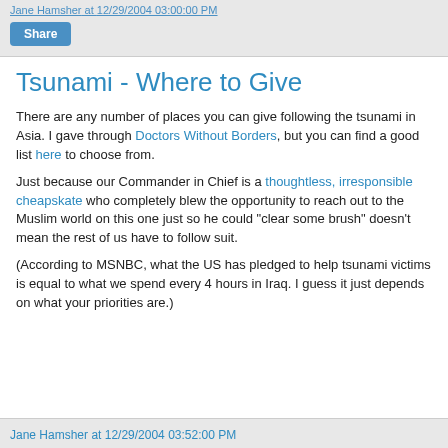Jane Hamsher at 12/29/2004 03:00:00 PM
Tsunami - Where to Give
There are any number of places you can give following the tsunami in Asia. I gave through Doctors Without Borders, but you can find a good list here to choose from.
Just because our Commander in Chief is a thoughtless, irresponsible cheapskate who completely blew the opportunity to reach out to the Muslim world on this one just so he could "clear some brush" doesn't mean the rest of us have to follow suit.
(According to MSNBC, what the US has pledged to help tsunami victims is equal to what we spend every 4 hours in Iraq. I guess it just depends on what your priorities are.)
Jane Hamsher at 12/29/2004 03:52:00 PM